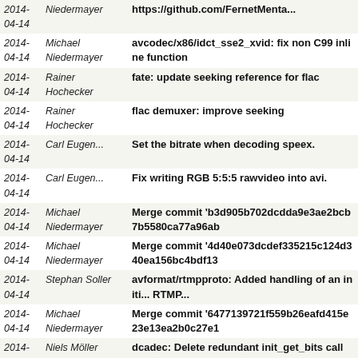| Date | Author | Message |
| --- | --- | --- |
| 2014-04-14 | Niedermayer | https://github.com/FernetMenta... |
| 2014-04-14 | Michael Niedermayer | avcodec/x86/idct_sse2_xvid: fix non C99 inline function |
| 2014-04-14 | Rainer Hochecker | fate: update seeking reference for flac |
| 2014-04-14 | Rainer Hochecker | flac demuxer: improve seeking |
| 2014-04-14 | Carl Eugen... | Set the bitrate when decoding speex. |
| 2014-04-14 | Carl Eugen... | Fix writing RGB 5:5:5 rawvideo into avi. |
| 2014-04-14 | Michael Niedermayer | Merge commit 'b3d905b702dcdda9e3ae2bcb7b5580ca77a96ab... |
| 2014-04-14 | Michael Niedermayer | Merge commit '4d40e073dcdef335215c124d340ea156bc4bdf13... |
| 2014-04-14 | Stephan Soller | avformat/rtmpproto: Added handling of an initi... RTMP... |
| 2014-04-14 | Michael Niedermayer | Merge commit '6477139721f559b26eafd415e23e13ea2b0c27e1... |
| 2014-04-14 | Niels Möller | dcadec: Delete redundant init_get_bits call |
| 2014-04-14 | Stephan Soller | rtmpproto: Handle RTMP chunk size packets before the... |
| 2014-04-14 | Martin Storsjö | rtmpproto: Make sure to pass on the error code if read_... |
next